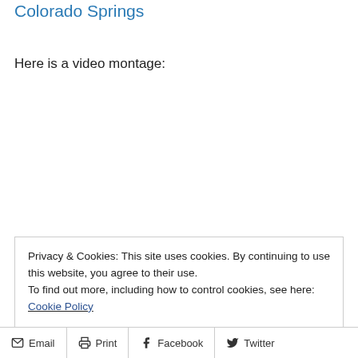Colorado Springs
Here is a video montage:
Privacy & Cookies: This site uses cookies. By continuing to use this website, you agree to their use.
To find out more, including how to control cookies, see here: Cookie Policy
Email  Print  Facebook  Twitter